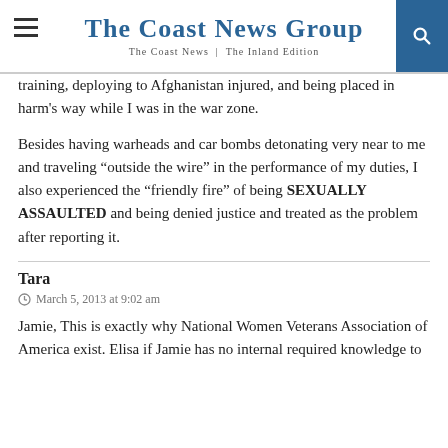The Coast News Group | The Coast News | The Inland Edition
training, deploying to Afghanistan injured, and being placed in harm's way while I was in the war zone.
Besides having warheads and car bombs detonating very near to me and traveling “outside the wire” in the performance of my duties, I also experienced the “friendly fire” of being SEXUALLY ASSAULTED and being denied justice and treated as the problem after reporting it.
Tara
March 5, 2013 at 9:02 am
Jamie, This is exactly why National Women Veterans Association of America exist. Elisa if Jamie has no internal required knowledge to